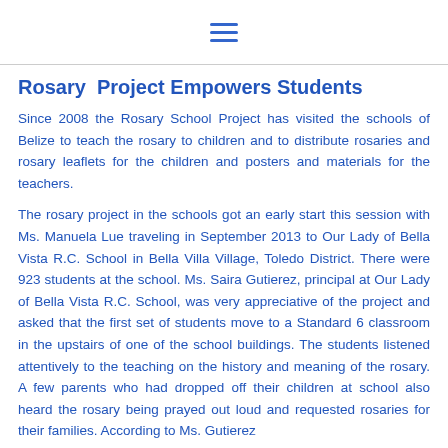≡
Rosary Project Empowers Students
Since 2008 the Rosary School Project has visited the schools of Belize to teach the rosary to children and to distribute rosaries and rosary leaflets for the children and posters and materials for the teachers.
The rosary project in the schools got an early start this session with Ms. Manuela Lue traveling in September 2013 to Our Lady of Bella Vista R.C. School in Bella Villa Village, Toledo District. There were 923 students at the school. Ms. Saira Gutierez, principal at Our Lady of Bella Vista R.C. School, was very appreciative of the project and asked that the first set of students move to a Standard 6 classroom in the upstairs of one of the school buildings. The students listened attentively to the teaching on the history and meaning of the rosary. A few parents who had dropped off their children at school also heard the rosary being prayed out loud and requested rosaries for their families. According to Ms. Gutierez